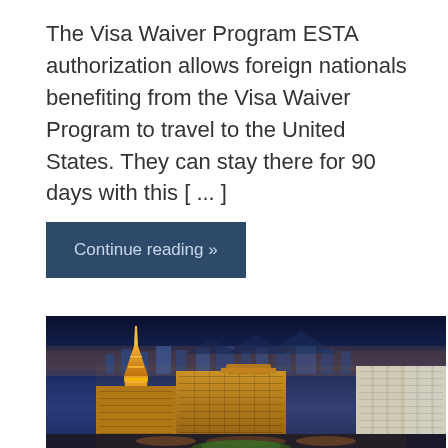The Visa Waiver Program ESTA authorization allows foreign nationals benefiting from the Visa Waiver Program to travel to the United States. They can stay there for 90 days with this [...]
Continue reading »
[Figure (photo): Aerial night view of the Las Vegas Strip showing illuminated hotels and casinos including the Paris Las Vegas hotel with its Eiffel Tower replica, against a dark blue twilight sky.]